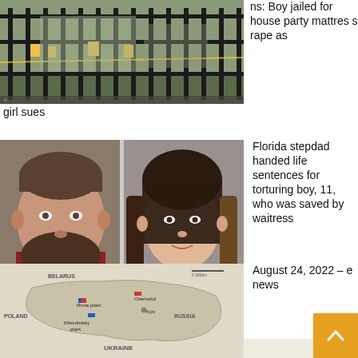[Figure (photo): Photo of a school or public building entrance with metal fence/railings and yellow notices posted]
ns: Boy jailed for house party mattress rape as girl sues
[Figure (photo): Mugshot photos of two individuals: a heavyset man with beard on left, a woman with dark hair on right]
Florida stepdad handed life sentences for torturing boy, 11, who was saved by waitress
[Figure (map): Map of Ukraine showing Rivne plant, Chernobyl, Kyiv, Khmolnitsky plant, with labels for Belarus, Poland, Russia]
August 24, 2022 – e news